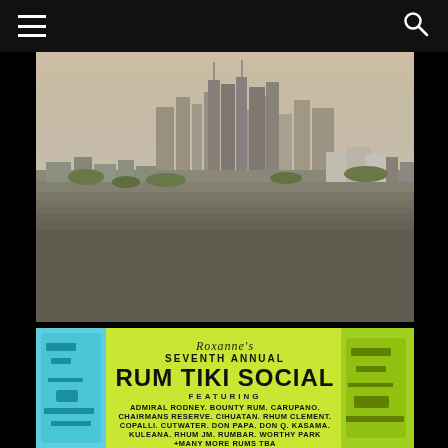Navigation header with hamburger menu and search icon
[Figure (photo): Aerial cityscape photo of Los Angeles skyline with downtown skyscrapers in the background and dense urban sprawl in the foreground under a hazy sky]
[Figure (photo): Promotional poster for Roxanne's Seventh Annual Rum Tiki Social featuring a lime green background with tiki figure artwork. Text reads: Roxanne's SEVENTH ANNUAL RUM TIKI SOCIAL FEATURING ADMIRAL RODNEY. BOUNTY RUM. CARUPANO. CHAIRMANS RESERVE. CIHUATAN. RHUM CLEMENT. COPALLI. CUTWATER. DON PAPA. DON Q. KASAMA. KULEANA. RHUM JM. RUMBAR. WORTHY PARK +MANY MORE RUMS TBA]